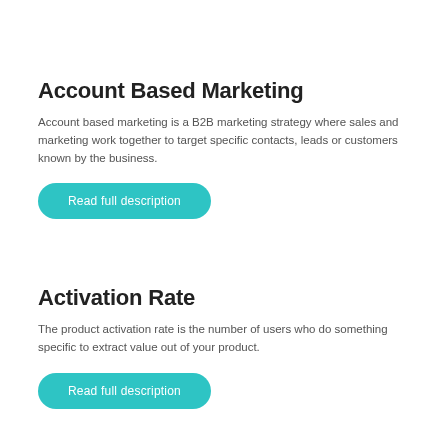Account Based Marketing
Account based marketing is a B2B marketing strategy where sales and marketing work together to target specific contacts, leads or customers known by the business.
Read full description
Activation Rate
The product activation rate is the number of users who do something specific to extract value out of your product.
Read full description